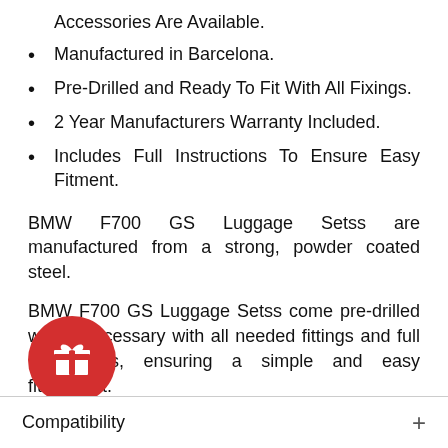Accessories Are Available.
Manufactured in Barcelona.
Pre-Drilled and Ready To Fit With All Fixings.
2 Year Manufacturers Warranty Included.
Includes Full Instructions To Ensure Easy Fitment.
BMW F700 GS Luggage Setss are manufactured from a strong, powder coated steel.
BMW F700 GS Luggage Setss come pre-drilled where necessary with all needed fittings and full instructions, ensuring a simple and easy fitment.
Compatibility